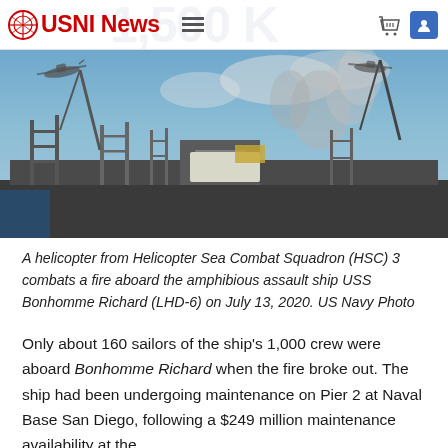USNI News
[Figure (photo): View looking up at USS Bonhomme Richard (LHD-6) from dockside, showing scaffolding and smoke rising from the ship during a fire, with a helicopter visible in the sky above.]
A helicopter from Helicopter Sea Combat Squadron (HSC) 3 combats a fire aboard the amphibious assault ship USS Bonhomme Richard (LHD-6) on July 13, 2020. US Navy Photo
Only about 160 sailors of the ship's 1,000 crew were aboard Bonhomme Richard when the fire broke out. The ship had been undergoing maintenance on Pier 2 at Naval Base San Diego, following a $249 million maintenance availability at the